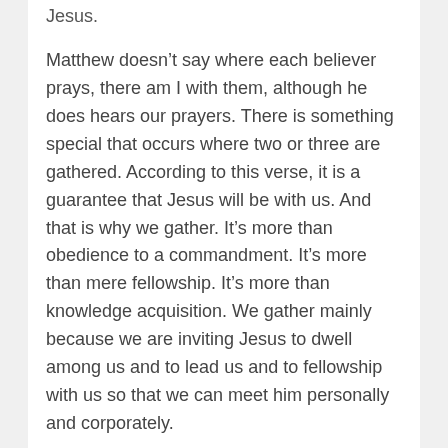Jesus.
Matthew doesn’t say where each believer prays, there am I with them, although he does hears our prayers. There is something special that occurs where two or three are gathered. According to this verse, it is a guarantee that Jesus will be with us. And that is why we gather. It’s more than obedience to a commandment. It’s more than mere fellowship. It’s more than knowledge acquisition. We gather mainly because we are inviting Jesus to dwell among us and to lead us and to fellowship with us so that we can meet him personally and corporately.